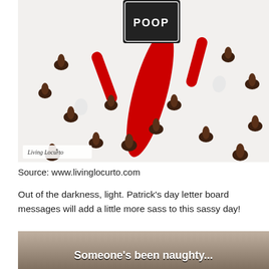[Figure (photo): An elf on the shelf doll lying on a white surface surrounded by chocolate chips, holding a small black letter board sign that says POOP. Watermark reads 'Living Locurto' in bottom left corner.]
Source: www.livinglocurto.com
Out of the darkness, light. Patrick's day letter board messages will add a little more sass to this sassy day!
[Figure (photo): Bottom portion of a photo with a dark tan/grey background showing text overlay: "Someone's been naughty..."]